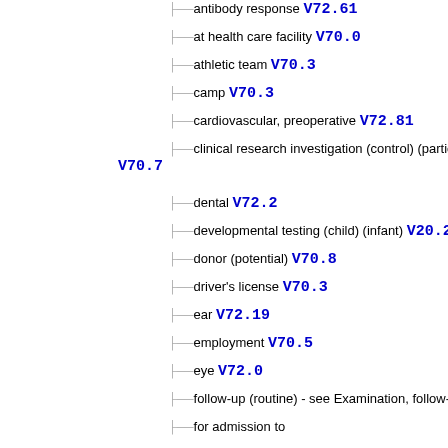antibody response V72.61
at health care facility V70.0
athletic team V70.3
camp V70.3
cardiovascular, preoperative V72.81
clinical research investigation (control) (participant) V70.7
dental V72.2
developmental testing (child) (infant) V20.2
donor (potential) V70.8
driver's license V70.3
ear V72.19
employment V70.5
eye V72.0
follow-up (routine) - see Examination, follow-up
for admission to
old age home V70.3
school V70.3
general V70.9
specified reason NEC V70.8
gynecological V72.31
health supervision
child (over 28 days old) V20.2